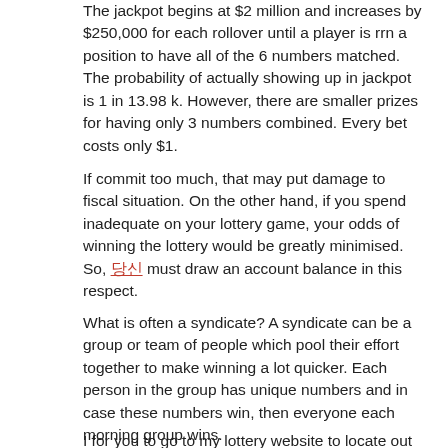The jackpot begins at $2 million and increases by $250,000 for each rollover until a player is rrn a position to have all of the 6 numbers matched. The probability of actually showing up in jackpot is 1 in 13.98 k. However, there are smaller prizes for having only 3 numbers combined. Every bet costs only $1.
If commit too much, that may put damage to fiscal situation. On the other hand, if you spend inadequate on your lottery game, your odds of winning the lottery would be greatly minimised. So, [link] must draw an account balance in this respect.
What is often a syndicate? A syndicate can be a group or team of people which pool their effort together to make winning a lot quicker. Each person in the group has unique numbers and in case these numbers win, then everyone each morning group wins.
I for you to go to my lottery website to locate out how to win